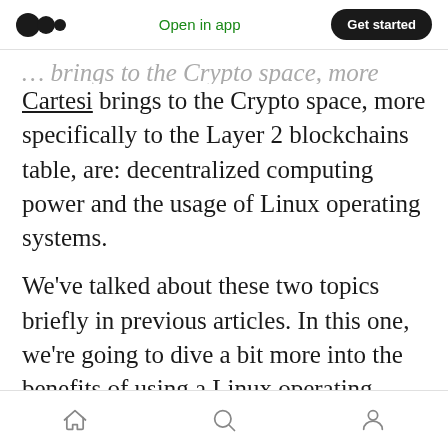Open in app | Get started
Cartesi brings to the Crypto space, more specifically to the Layer 2 blockchains table, are: decentralized computing power and the usage of Linux operating systems.
We've talked about these two topics briefly in previous articles. In this one, we're going to dive a bit more into the benefits of using a Linux operating system, because we think this is a quite unique and powerful feature.
Linux Operating System
Home | Search | Profile